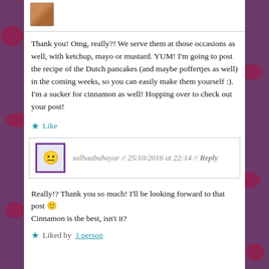[Figure (photo): Small avatar thumbnail photo at top]
Thank you! Omg, really?! We serve them at those occasions as well, with ketchup, mayo or mustard. YUM! I'm going to post the recipe of the Dutch pancakes (and maybe poffertjes as well) in the coming weeks, so you can easily make them yourself :). I'm a sucker for cinnamon as well! Hopping over to check out your post!
★ Like
salhaabuhayar // 25/10/2016 at 22:14 // Reply
Really!? Thank you so much! I'll be looking forward to that post 🙂
Cinnamon is the best, isn't it?
★ Liked by 1 person